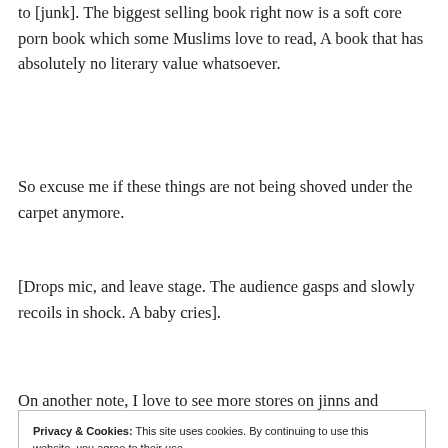to [junk]. The biggest selling book right now is a soft core porn book which some Muslims love to read, A book that has absolutely no literary value whatsoever.
So excuse me if these things are not being shoved under the carpet anymore.
[Drops mic, and leave stage. The audience gasps and slowly recoils in shock. A baby cries].
On another note, I love to see more stores on jinns and marriage life in your upcoming posts.
Privacy & Cookies: This site uses cookies. By continuing to use this website, you agree to their use.
To find out more, including how to control cookies, see here: Cookie Policy
Close and accept